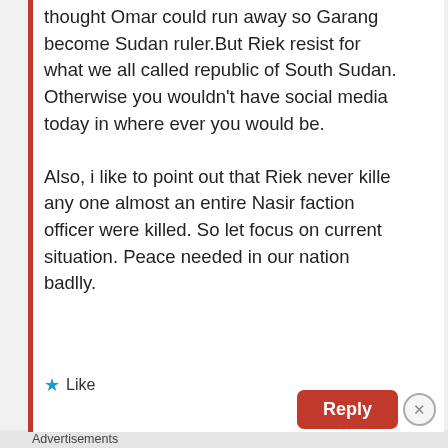thought Omar could run away so Garang become Sudan ruler. But Riek resist for what we all called republic of South Sudan. Otherwise you wouldn't have social media today in where ever you would be.
Also, i like to point out that Riek never kille any one almost an entire Nasir faction officer were killed. So let focus on current situation. Peace needed in our nation badlly.
★ Like
Reply
Advertisements
[Figure (infographic): Dark blue advertisement banner reading 'Opinions. We all have them!' with WordPress logo and another circular icon on the right.]